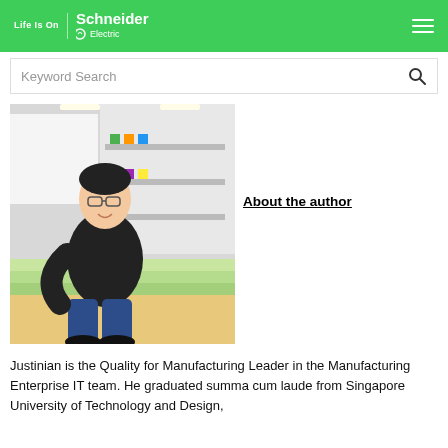Life Is On | Schneider Electric
[Figure (photo): Young Asian man with glasses wearing a black jacket, sitting on green stadium-style steps in an office/lounge area, smiling at the camera.]
About the author
Justinian is the Quality for Manufacturing Leader in the Manufacturing Enterprise IT team. He graduated summa cum laude from Singapore University of Technology and Design,